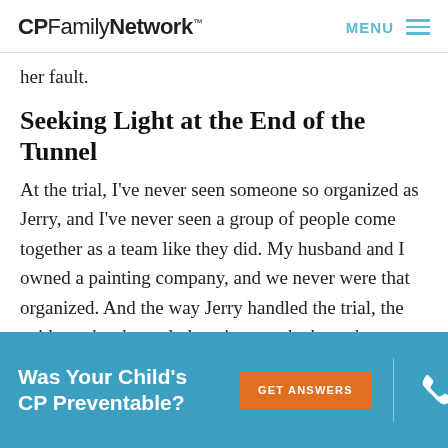CPFamilyNetwork™  MENU
her fault.
Seeking Light at the End of the Tunnel
At the trial, I've never seen someone so organized as Jerry, and I've never seen a group of people come together as a team like they did. My husband and I owned a painting company, and we never were that organized. And the way Jerry handled the trial, the evidence he showed, the witnesses he brought were amazing.
Was Your Child's CP Preventable?   GET ANSWERS